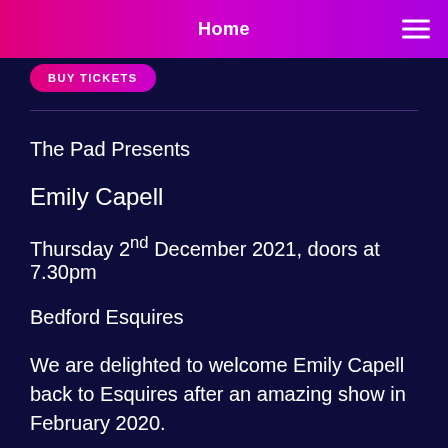Home
BUY TICKETS
The Pad Presents
Emily Capell
Thursday 2nd December 2021, doors at 7.30pm
Bedford Esquires
We are delighted to welcome Emily Capell back to Esquires after an amazing show in February 2020.
A d...